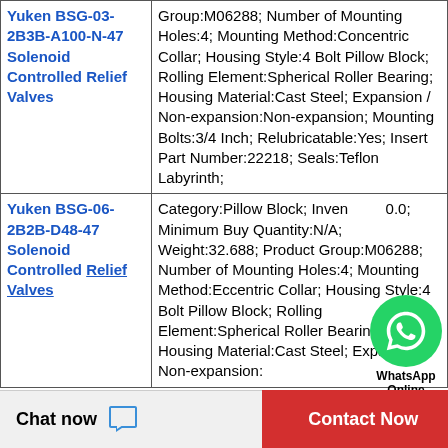| Product | Description |
| --- | --- |
| Yuken BSG-03-2B3B-A100-N-47 Solenoid Controlled Relief Valves | Group:M06288; Number of Mounting Holes:4; Mounting Method:Concentric Collar; Housing Style:4 Bolt Pillow Block; Rolling Element:Spherical Roller Bearing; Housing Material:Cast Steel; Expansion / Non-expansion:Non-expansion; Mounting Bolts:3/4 Inch; Relubricatable:Yes; Insert Part Number:22218; Seals:Teflon Labyrinth; |
| Yuken BSG-06-2B2B-D48-47 Solenoid Controlled Relief Valves | Category:Pillow Block; Inventory:0.0; Minimum Buy Quantity:N/A; Weight:32.688; Product Group:M06288; Number of Mounting Holes:4; Mounting Method:Eccentric Collar; Housing Style:4 Bolt Pillow Block; Rolling Element:Spherical Roller Bearing; Housing Material:Cast Steel; Expansion / Non-expansion:Non-expansion; |
[Figure (other): WhatsApp Online contact bubble with green circle and phone icon, with text 'WhatsApp Online']
Chat now | Contact Now